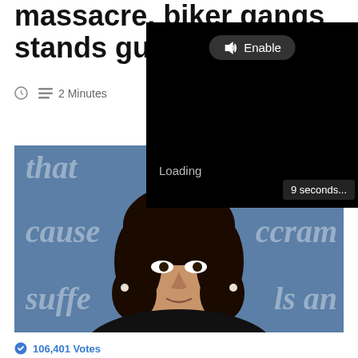massacre, biker gangs stands guard outside
2 Minutes
[Figure (screenshot): Black video player overlay with 'Enable' button (speaker icon), 'Loading' text, and '9 seconds...' countdown badge in bottom right.]
[Figure (photo): Photo of Kamala Harris against a blue debate backdrop with italic watermark words: 'that', 'cause', 'ccram', 'suffe', 'ls an']
106,401 Votes
How would you rate Kamala Harris' job performance?